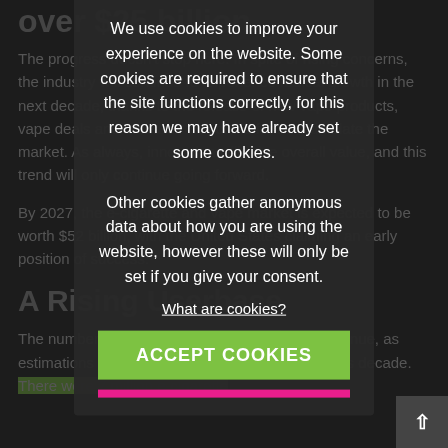over $25 billion
The progress doesn't stop here. In spite of rising concerns, the industry will continue to experience radical growth in the next decade, thanks to the release of new vape products, vape deals and research that could further stimulate the market. As always, innovation will drive overall value, and this trend will only continue going forward.
By 2027, the e-cigarette and vape market is expected to be worth $52 billion, with the United States claiming an early position of success.
A Rising Userbase
The number of vape users is rising alongside revenue, as estimations have soared compared to the previous decade. There were 7 million e-cigarette
We use cookies to improve your experience on the website. Some cookies are required to ensure that the site functions correctly, for this reason we may have already set some cookies.

Other cookies gather anonymous data about how you are using the website, however these will only be set if you give your consent.
What are cookies?
ACCEPT COOKIES